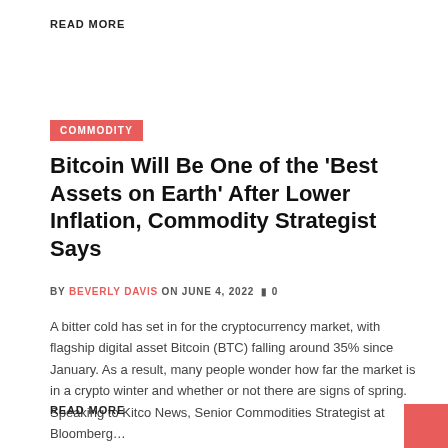READ MORE
COMMODITY
Bitcoin Will Be One of the 'Best Assets on Earth' After Lower Inflation, Commodity Strategist Says
BY BEVERLY DAVIS ON JUNE 4, 2022  🗨 0
A bitter cold has set in for the cryptocurrency market, with flagship digital asset Bitcoin (BTC) falling around 35% since January. As a result, many people wonder how far the market is in a crypto winter and whether or not there are signs of spring. Speaking to Kitco News, Senior Commodities Strategist at Bloomberg…
READ MORE